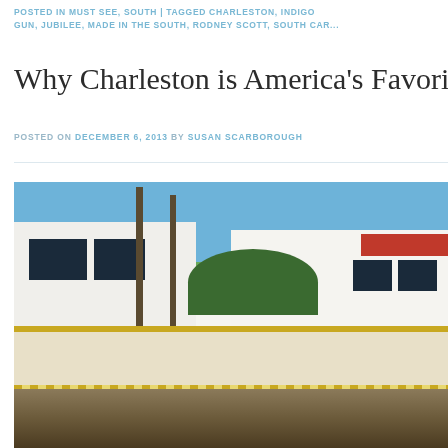POSTED IN MUST SEE, SOUTH | TAGGED CHARLESTON, INDIGO GUN, JUBILEE, MADE IN THE SOUTH, RODNEY SCOTT, SOUTH CAR...
Why Charleston is America's Favorite
POSTED ON DECEMBER 6, 2013 BY SUSAN SCARBOROUGH
[Figure (photo): Street scene in Charleston showing white historic buildings, palm trees, a yellow-fringed trolley car, and people gathered below under a blue sky]